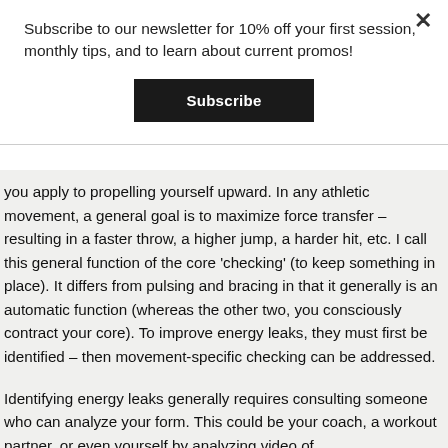Subscribe to our newsletter for 10% off your first session, monthly tips, and to learn about current promos!
Subscribe
you apply to propelling yourself upward. In any athletic movement, a general goal is to maximize force transfer – resulting in a faster throw, a higher jump, a harder hit, etc. I call this general function of the core 'checking' (to keep something in place). It differs from pulsing and bracing in that it generally is an automatic function (whereas the other two, you consciously contract your core). To improve energy leaks, they must first be identified – then movement-specific checking can be addressed.
Identifying energy leaks generally requires consulting someone who can analyze your form. This could be your coach, a workout partner, or even yourself by analyzing video of